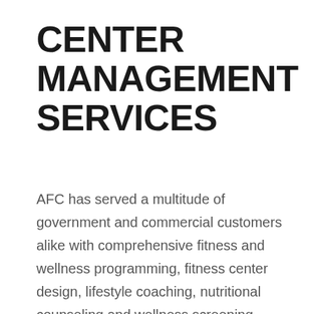CENTER MANAGEMENT SERVICES
AFC has served a multitude of government and commercial customers alike with comprehensive fitness and wellness programming, fitness center design, lifestyle coaching, nutritional counseling and wellness screening services to keep employees motivated and focused on leading healthier, happier lives.